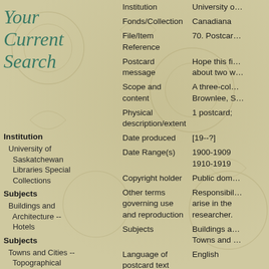Your Current Search
Institution
University of Saskatchewan Libraries Special Collections
Subjects
Buildings and Architecture -- Hotels
Subjects
Towns and Cities -- Topographical
| Field | Value |
| --- | --- |
| Institution | University o… |
| Fonds/Collection | Canadiana |
| File/Item Reference | 70. Postcar… |
| Postcard message | Hope this fi… about two w… |
| Scope and content | A three-col… Brownlee, S… |
| Physical description/extent | 1 postcard; |
| Date produced | [19--?] |
| Date Range(s) | 1900-1909
1910-1919 |
| Copyright holder | Public dom… |
| Other terms governing use and reproduction | Responsibil… arise in the researcher. |
| Subjects | Buildings a… Towns and … |
| Language of postcard text | English |
| Language of card | English |
| Postcard style | divided bac… |